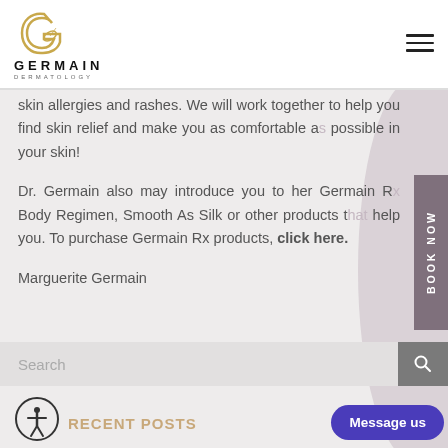[Figure (logo): Germain Dermatology logo with cursive G and leaf icon, text GERMAIN DERMATOLOGY]
skin allergies and rashes. We will work together to help you find skin relief and make you as comfortable as possible in your skin!
Dr. Germain also may introduce you to her Germain Rx Body Regimen, Smooth As Silk or other products that help you. To purchase Germain Rx products, click here.
Marguerite Germain
Search
RECENT POSTS